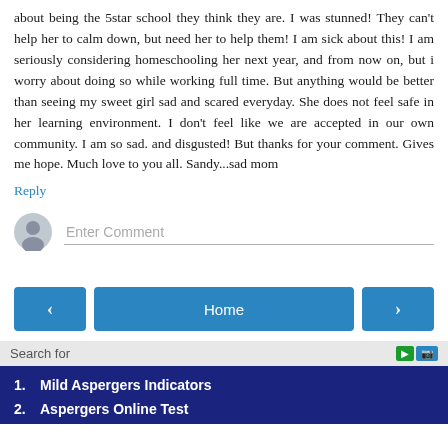about being the 5star school they think they are. I was stunned! They can't help her to calm down, but need her to help them! I am sick about this! I am seriously considering homeschooling her next year, and from now on, but i worry about doing so while working full time. But anything would be better than seeing my sweet girl sad and scared everyday. She does not feel safe in her learning environment. I don't feel like we are accepted in our own community. I am so sad. and disgusted! But thanks for your comment. Gives me hope. Much love to you all. Sandy...sad mom
Reply
[Figure (other): Comment input area with user avatar and Enter Comment placeholder text]
[Figure (other): Navigation bar with previous arrow button, Home button, and next arrow button]
Search for
1.   Mild Aspergers Indicators
2.   Aspergers Online Test